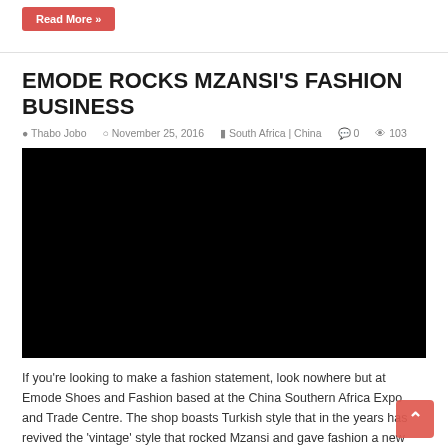Read More »
EMODE ROCKS MZANSI'S FASHION BUSINESS
Thabo Jobo  November 25, 2016  South Africa | China  0  103
[Figure (photo): Black video/image placeholder rectangle]
If you're looking to make a fashion statement, look nowhere but at Emode Shoes and Fashion based at the China Southern Africa Expo and Trade Centre. The shop boasts Turkish style that in the years has revived the 'vintage' style that rocked Mzansi and gave fashion a new